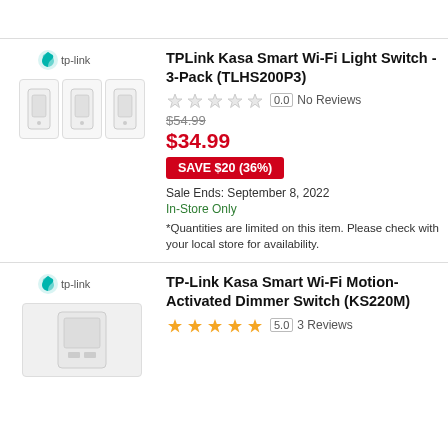[Figure (screenshot): Product listing page showing two TP-Link smart switch products]
TPLink Kasa Smart Wi-Fi Light Switch - 3-Pack (TLHS200P3)
0.0 No Reviews
$54.99
$34.99
SAVE $20 (36%)
Sale Ends: September 8, 2022
In-Store Only
*Quantities are limited on this item. Please check with your local store for availability.
TP-Link Kasa Smart Wi-Fi Motion-Activated Dimmer Switch (KS220M)
5.0  3 Reviews